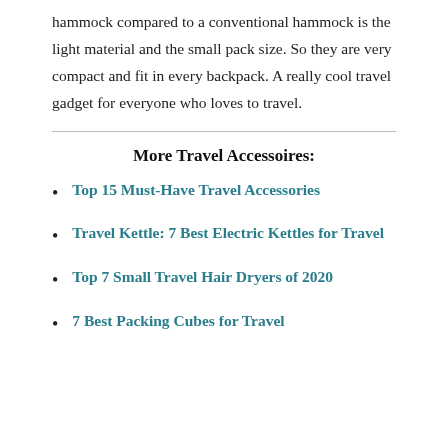hammock compared to a conventional hammock is the light material and the small pack size. So they are very compact and fit in every backpack. A really cool travel gadget for everyone who loves to travel.
More Travel Accessoires:
Top 15 Must-Have Travel Accessories
Travel Kettle: 7 Best Electric Kettles for Travel
Top 7 Small Travel Hair Dryers of 2020
7 Best Packing Cubes for Travel